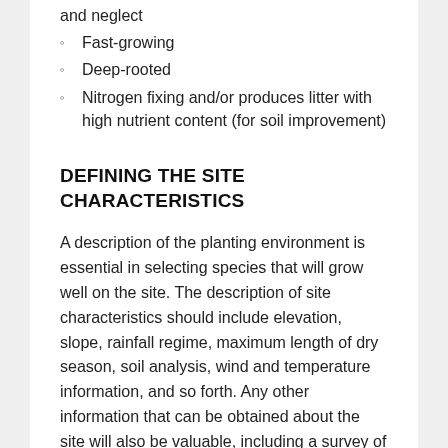and neglect
Fast-growing
Deep-rooted
Nitrogen fixing and/or produces litter with high nutrient content (for soil improvement)
DEFINING THE SITE CHARACTERISTICS
A description of the planting environment is essential in selecting species that will grow well on the site. The description of site characteristics should include elevation, slope, rainfall regime, maximum length of dry season, soil analysis, wind and temperature information, and so forth. Any other information that can be obtained about the site will also be valuable, including a survey of existing vegetation, a history of land use, etc. The process of